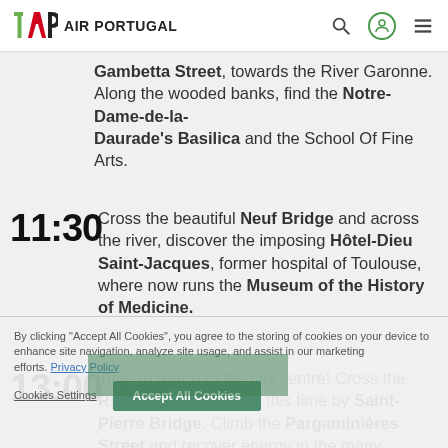TAP AIR PORTUGAL
Gambetta Street, towards the River Garonne. Along the wooded banks, find the Notre-Dame-de-la-Daurade's Basilica and the School Of Fine Arts.
11:30 Cross the beautiful Neuf Bridge and across the river, discover the imposing Hôtel-Dieu Saint-Jacques, former hospital of Toulouse, where now runs the Museum of the History of Medicine.
13:00 Time to return to the city centre! Cross the River Garonne again, this time by Saint-Pierre Bridge. Climb the Pargaminières Street and recover energy in the many restaurants of the beautiful President Thomas Wilson Square
By clicking "Accept All Cookies", you agree to the storing of cookies on your device to enhance site navigation, analyze site usage, and assist in our marketing efforts. Privacy Policy
Cookies Settings | Accept All Cookies